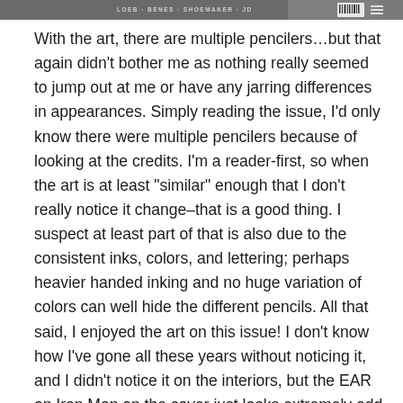[Figure (photo): Partial view of a comic book cover strip showing credits including names like Loeb, Benes, Shoemaker, JD, with a barcode area on the right.]
With the art, there are multiple pencilers…but that again didn't bother me as nothing really seemed to jump out at me or have any jarring differences in appearances. Simply reading the issue, I'd only know there were multiple pencilers because of looking at the credits. I'm a reader-first, so when the art is at least "similar" enough that I don't really notice it change–that is a good thing. I suspect at least part of that is also due to the consistent inks, colors, and lettering; perhaps heavier handed inking and no huge variation of colors can well hide the different pencils. All that said, I enjoyed the art on this issue! I don't know how I've gone all these years without noticing it, and I didn't notice it on the interiors, but the EAR on Iron Man on the cover just looks extremely odd and "off" to me and is really the only thing that totally "threw" me off with the visuals.